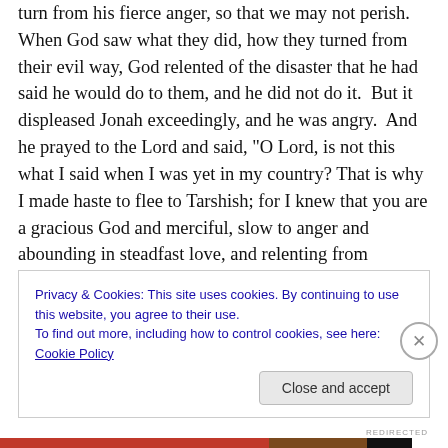turn from his fierce anger, so that we may not perish. When God saw what they did, how they turned from their evil way, God relented of the disaster that he had said he would do to them, and he did not do it.  But it displeased Jonah exceedingly, and he was angry.  And he prayed to the Lord and said, “O Lord, is not this what I said when I was yet in my country? That is why I made haste to flee to Tarshish; for I knew that you are a gracious God and merciful, slow to anger and abounding in steadfast love, and relenting from disaster. Therefore now, O Lord, please take my life from me, for it is better for me to die than to
Privacy & Cookies: This site uses cookies. By continuing to use this website, you agree to their use.
To find out more, including how to control cookies, see here: Cookie Policy